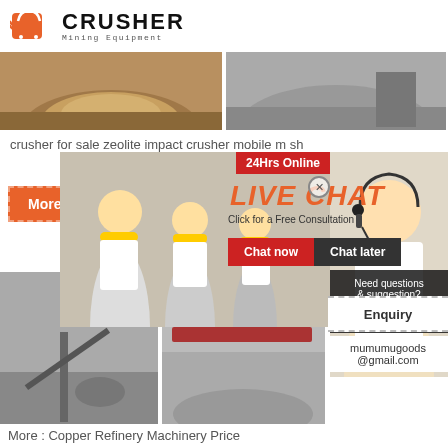[Figure (logo): Crusher Mining Equipment logo with red shopping bag icon and bold CRUSHER text]
[Figure (photo): Two mining site photos showing crushed rock/gravel piles]
crusher for sale zeolite impact crusher mobile m... sh
[Figure (screenshot): Live chat popup overlay with workers in hard hats, LIVE CHAT heading, Click for a Free Consultation, Chat now and Chat later buttons, 24Hrs Online badge, headset lady, Need questions & suggestion Chat Now box, Enquiry section, mumumugoods@gmail.com]
[Figure (photo): Two more mining/conveyor equipment photos at bottom]
More : Copper Refinery Machinery Price